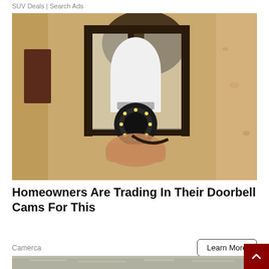SUV Deals | Search Ads
[Figure (photo): A hand installing a white light-bulb shaped security camera with a round lens and LED ring into a black outdoor lantern fixture mounted on a textured stucco wall.]
Homeowners Are Trading In Their Doorbell Cams For This
Camerca
[Figure (photo): Partial bottom image showing metallic insulation material.]